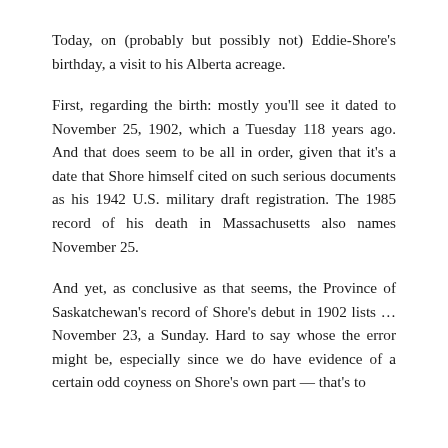Today, on (probably but possibly not) Eddie-Shore's birthday, a visit to his Alberta acreage.
First, regarding the birth: mostly you'll see it dated to November 25, 1902, which a Tuesday 118 years ago. And that does seem to be all in order, given that it's a date that Shore himself cited on such serious documents as his 1942 U.S. military draft registration. The 1985 record of his death in Massachusetts also names November 25.
And yet, as conclusive as that seems, the Province of Saskatchewan's record of Shore's debut in 1902 lists … November 23, a Sunday. Hard to say whose the error might be, especially since we do have evidence of a certain odd coyness on Shore's own part — that's to